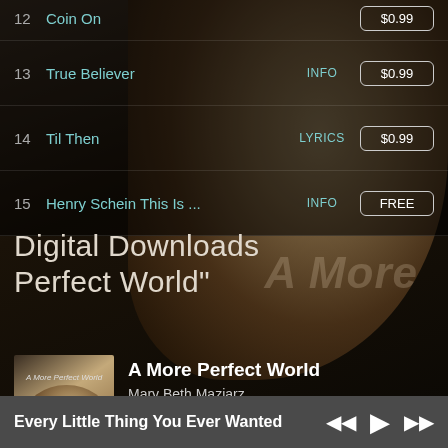12  Coin On  $0.99
13  True Believer  INFO  $0.99
14  Til Then  LYRICS  $0.99
15  Henry Schein This Is ...  INFO  FREE
Digital Downloads Perfect World"
[Figure (photo): Album cover thumbnail for A More Perfect World by Mary Beth Maziarz — sepia-toned portrait of a woman]
A More Perfect World
Mary Beth Maziarz
DOWNLOAD: $10.00
Every Little Thing You Ever Wanted